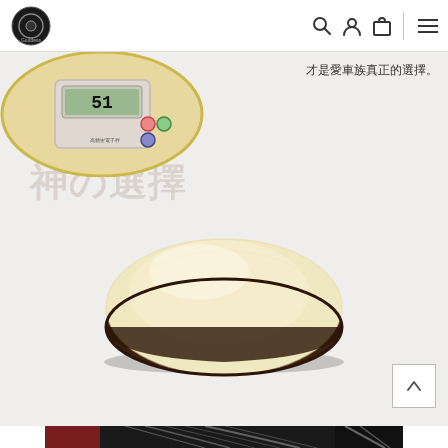Goddess logo navigation bar with search, user, cart, and menu icons
才是愛車族真正的選擇。
[Figure (photo): A fluffy cream-colored oval wool polishing pad with dark brown back, shown on a white background. A scale showing 51g is partially visible in the upper left corner. A faint watermark text is visible behind the pad.]
[Figure (photo): Bottom portion of another product image showing what appears to be a clay bar or detailing product being used on a dark surface with swirl marks visible.]